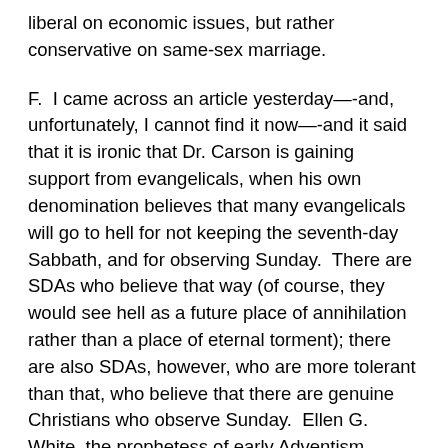liberal on economic issues, but rather conservative on same-sex marriage.
F.  I came across an article yesterday—-and, unfortunately, I cannot find it now—-and it said that it is ironic that Dr. Carson is gaining support from evangelicals, when his own denomination believes that many evangelicals will go to hell for not keeping the seventh-day Sabbath, and for observing Sunday.  There are SDAs who believe that way (of course, they would see hell as a future place of annihilation rather than a place of eternal torment); there are also SDAs, however, who are more tolerant than that, who believe that there are genuine Christians who observe Sunday.  Ellen G. White, the prophetess of early Adventism, expressed a belief in The Great Controversy that there were sincere Christians among Protestants and Catholics, who were keeping